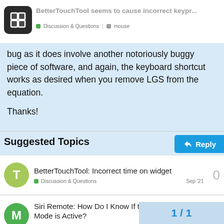BetterTouchTool seems to cause incorrect keypr... | Discussion & Questions | mouse
bug as it does involve another notoriously buggy piece of software, and again, the keyboard shortcut works as desired when you remove LGS from the equation.

Thanks!
Suggested Topics
BetterTouchTool: Incorrect time on widget
Discussion & Questions   Sep '21
Siri Remote: How Do I Know If the Mouse Control Mode is Active?
Discussion & Questions   siri-rem
1 / 1